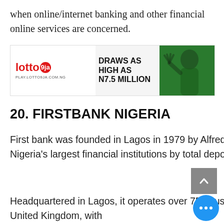when online/internet banking and other financial online services are concerned.
[Figure (illustration): Lotto9ja advertisement banner: lotto9ja logo on left, text 'DRAWS AS HIGH AS N7.5 MILLION' in center, person waving on right, URL PLAY.LOTTO9JA.COM.NG at bottom left]
20. FIRSTBANK NIGERIA
First bank was founded in Lagos in 1979 by Alfred Lewis Jones and has grown into one of Nigeria's largest financial institutions by total deposit and gross earnings.
Headquartered in Lagos, it operates over 750 business locations across Africa, the United Kingdom, with